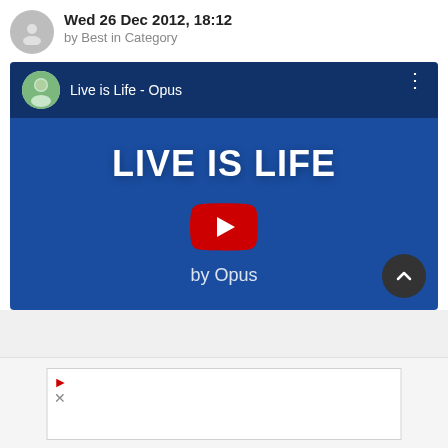Wed 26 Dec 2012, 18:12
by Best in Category
[Figure (screenshot): Embedded YouTube video thumbnail showing 'Live is Life - Opus' on a dark blue background with large white text 'LIVE IS LIFE' and subtitle 'by Opus', with a red YouTube play button in the center and a channel avatar in the top-left corner.]